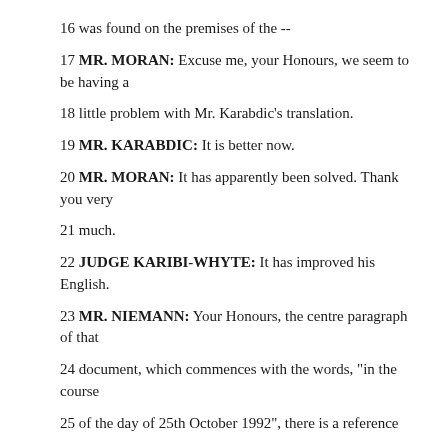16 was found on the premises of the --
17 MR. MORAN: Excuse me, your Honours, we seem to be having a
18 little problem with Mr. Karabdic's translation.
19 MR. KARABDIC: It is better now.
20 MR. MORAN: It has apparently been solved. Thank you very
21 much.
22 JUDGE KARIBI-WHYTE: It has improved his English.
23 MR. NIEMANN: Your Honours, the centre paragraph of that
24 document, which commences with the words, "in the course
25 of the day of 25th October 1992", there is a reference